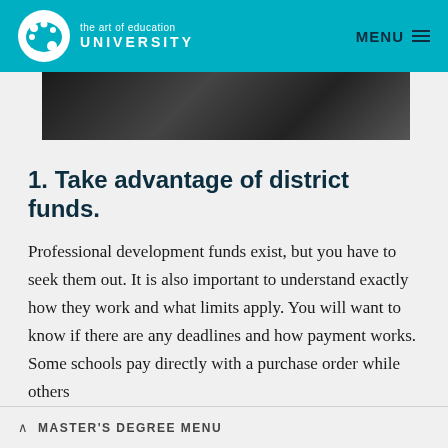the art of education UNIVERSITY | MENU
[Figure (photo): Partial photo strip showing a dark surface, likely a desk or table edge, appearing cropped at the top of the content area.]
1. Take advantage of district funds.
Professional development funds exist, but you have to seek them out. It is also important to understand exactly how they work and what limits apply. You will want to know if there are any deadlines and how payment works. Some schools pay directly with a purchase order while others
^ MASTER'S DEGREE MENU